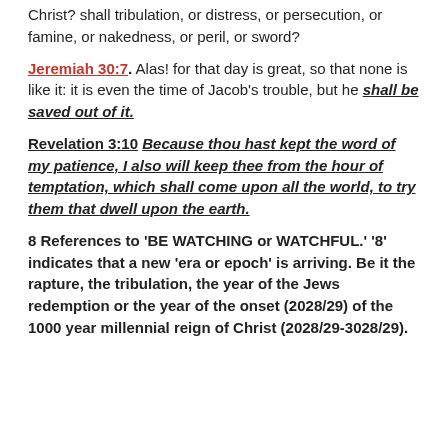Christ? shall tribulation, or distress, or persecution, or famine, or nakedness, or peril, or sword?
Jeremiah 30:7. Alas! for that day is great, so that none is like it: it is even the time of Jacob's trouble, but he shall be saved out of it.
Revelation 3:10 Because thou hast kept the word of my patience, I also will keep thee from the hour of temptation, which shall come upon all the world, to try them that dwell upon the earth.
8 References to 'BE WATCHING or WATCHFUL.' '8' indicates that a new 'era or epoch' is arriving. Be it the rapture, the tribulation, the year of the Jews redemption or the year of the onset (2028/29) of the 1000 year millennial reign of Christ (2028/29-3028/29).